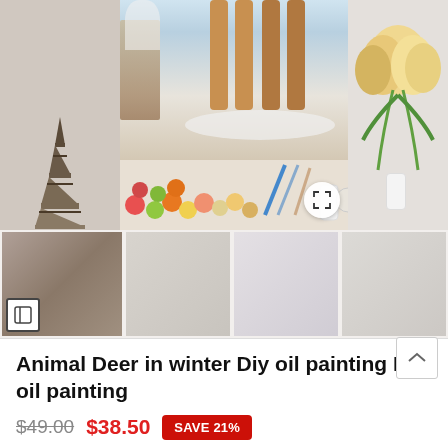[Figure (photo): Product listing main image showing a DIY paint by numbers kit with deer in winter scene painting, Eiffel Tower figurine, paint supplies, brushes, and tulips]
[Figure (photo): Thumbnail gallery showing 4 thumbnail images of the product from different angles]
Animal Deer in winter Diy oil painting Diy oil painting
$49.00 $38.50 SAVE 21%
Tax included. Shipping calculated at checkout.
Description: This is a popular DIY digital oil painting. Thepainting is very